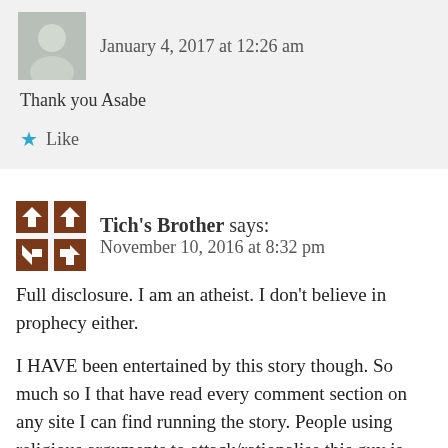January 4, 2017 at 12:26 am
Thank you Asabe
Like
Tich's Brother says:
November 10, 2016 at 8:32 pm
Full disclosure. I am an atheist. I don't believe in prophecy either.
I HAVE been entertained by this story though. So much so I that have read every comment section on any site I can find running the story. People using religious arguments to attack/rationalise this guy is hilarious